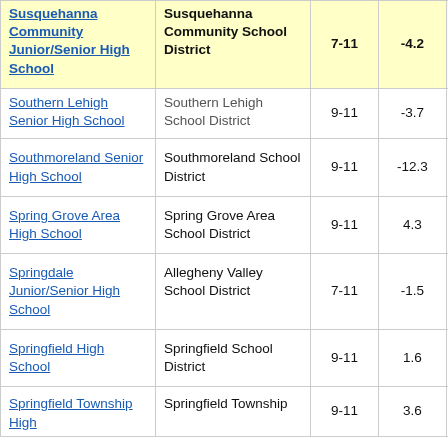| School | District | Grades | Value |  |
| --- | --- | --- | --- | --- |
| Susquehanna Community Junior/Senior High School | Susquehanna Community School District | 7-11 | -4.2 | 3 |
| Southern Lehigh Senior High School | Southern Lehigh School District | 9-11 | -3.7 |  |
| Southmoreland Senior High School | Southmoreland School District | 9-11 | -12.3 |  |
| Spring Grove Area High School | Spring Grove Area School District | 9-11 | 4.3 |  |
| Springdale Junior/Senior High School | Allegheny Valley School District | 7-11 | -1.5 |  |
| Springfield High School | Springfield School District | 9-11 | 1.6 |  |
| Springfield Township High School | Springfield Township | 9-11 | 3.6 |  |